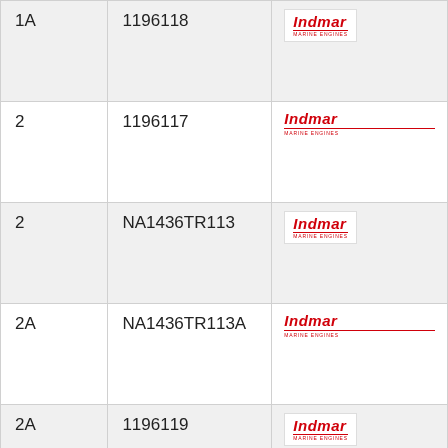| 1A | 1196118 | Indmar |
| 2 | 1196117 | Indmar |
| 2 | NA1436TR113 | Indmar |
| 2A | NA1436TR113A | Indmar |
| 2A | 1196119 | Indmar |